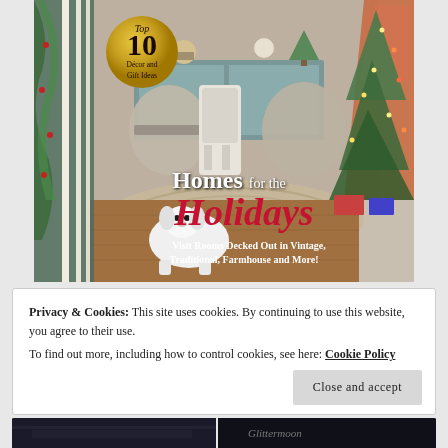[Figure (photo): Magazine cover for 'Homes for the Holidays' showing a festive decorated room with a white fluffy dog, Christmas tree on right, garland on left staircase banister, dining room furniture in background. A gold circular badge reads 'Top 10 Décor and Gift Ideas'. Title text overlaid: 'Homes for the Holidays — Visit Rooms Decked Out in Vintage, Traditional, Farmhouse and More!']
Privacy & Cookies: This site uses cookies. By continuing to use this website, you agree to their use.
To find out more, including how to control cookies, see here: Cookie Policy
Close and accept
[Figure (photo): Two partial book/magazine cover thumbnails at the bottom of the page. Left is a dark image, right shows partial text 'Glittermoon' in italic on a dark background.]